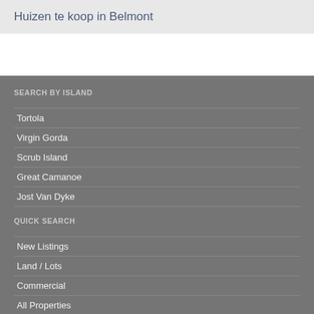Huizen te koop in Belmont
SEARCH BY ISLAND
Tortola
Virgin Gorda
Scrub Island
Great Camanoe
Jost Van Dyke
QUICK SEARCH
New Listings
Land / Lots
Commercial
All Properties
ABOUT
BVI Sales Team